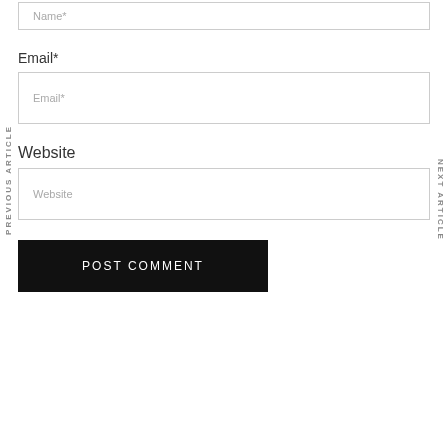Name*
Email*
Email*
Website
Website
PREVIOUS ARTICLE
NEXT ARTICLE
POST COMMENT